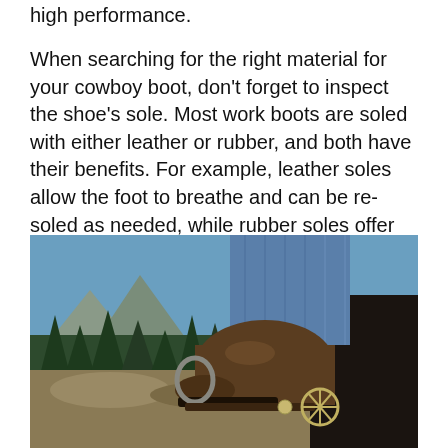high performance.
When searching for the right material for your cowboy boot, don't forget to inspect the shoe's sole. Most work boots are soled with either leather or rubber, and both have their benefits. For example, leather soles allow the foot to breathe and can be re-soled as needed, while rubber soles offer more flexibility and will last longer in wet conditions.
[Figure (photo): Close-up photo of a cowboy boot in a stirrup, worn with blue jeans. The boot has a spur attached. Background shows a mountain meadow with evergreen trees and blue sky.]